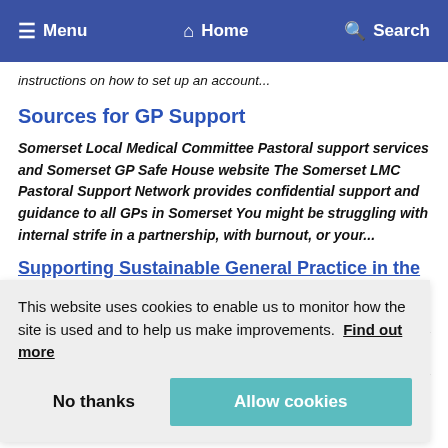Menu  Home  Search
instructions on how to set up an account...
Sources for GP Support
Somerset Local Medical Committee Pastoral support services and Somerset GP Safe House website The Somerset LMC Pastoral Support Network provides confidential support and guidance to all GPs in Somerset You might be struggling with internal strife in a partnership, with burnout, or your...
Supporting Sustainable General Practice in the South West
This website uses cookies to enable us to monitor how the site is used and to help us make improvements.  Find out more
No thanks
Allow cookies
rus) in Children